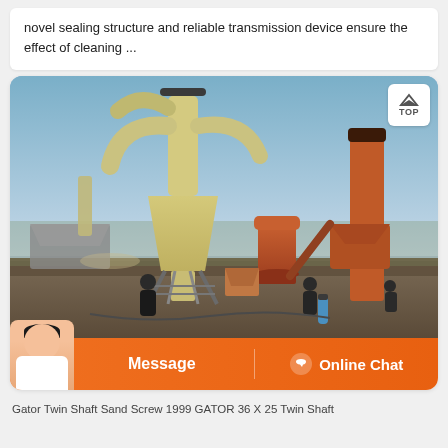novel sealing structure and reliable transmission device ensure the effect of cleaning ...
[Figure (photo): Industrial grinding mill installation showing large yellow cyclone dust collector towers with conical hoppers, a red/orange bucket elevator on the right, a central grinding mill unit in orange/red, workers visible in the foreground, and support equipment on a dirt construction site with trees visible in the background.]
Gator Twin Shaft Sand Screw 1999 GATOR 36 X 25 Twin Shaft